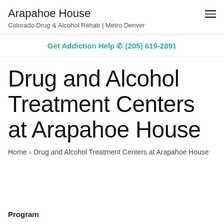Arapahoe House
Colorado Drug & Alcohol Rehab | Metro Denver
Get Addiction Help ☎ (205) 619-2891
Drug and Alcohol Treatment Centers at Arapahoe House
Home › Drug and Alcohol Treatment Centers at Arapahoe House
Program